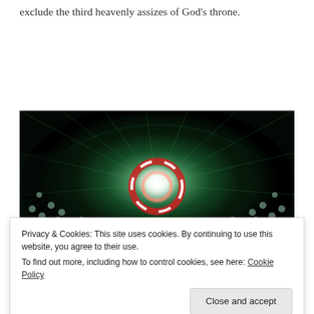exclude the third heavenly assizes of God's throne.
[Figure (illustration): A dramatic religious/spiritual illustration showing a radiant white light emanating from the center of a large arch or dome, surrounded by green energy, with a red and white circular ring in the middle, and masses of figures (choir or worshippers) arranged on both sides in curved rows.]
Privacy & Cookies: This site uses cookies. By continuing to use this website, you agree to their use.
To find out more, including how to control cookies, see here: Cookie Policy
Close and accept